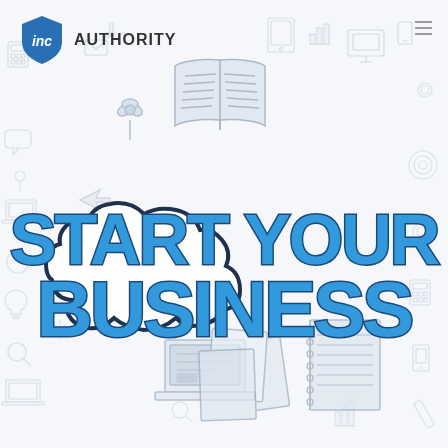[Figure (logo): Inc Authority logo — blue shield badge with 'inc' in white text, followed by 'AUTHORITY' in dark gray capital letters]
[Figure (illustration): Business startup themed illustration with doodle-style icons (books, laptops, calculators, charts, phones, etc.) in light gray/blue on white background. In the center is a cloud shape with bold blue text 'START YOUR BUSINESS' with dark blue outline. Colorful doodle business items surround the cloud in the center area including an open book, laptop, folders, and a plant.]